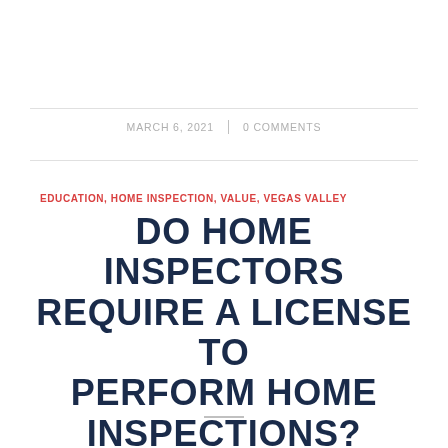MARCH 6, 2021  |  0 COMMENTS
EDUCATION, HOME INSPECTION, VALUE, VEGAS VALLEY
DO HOME INSPECTORS REQUIRE A LICENSE TO PERFORM HOME INSPECTIONS?